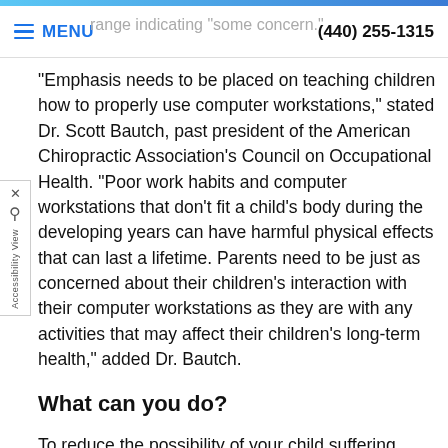range indicating "some concern." | (440) 255-1315 | MENU
"Emphasis needs to be placed on teaching children how to properly use computer workstations," stated Dr. Scott Bautch, past president of the American Chiropractic Association's Council on Occupational Health. "Poor work habits and computer workstations that don't fit a child's body during the developing years can have harmful physical effects that can last a lifetime. Parents need to be just as concerned about their children's interaction with their computer workstations as they are with any activities that may affect their children's long-term health," added Dr. Bautch.
What can you do?
To reduce the possibility of your child suffering painful and possibly disabling injuries, the American